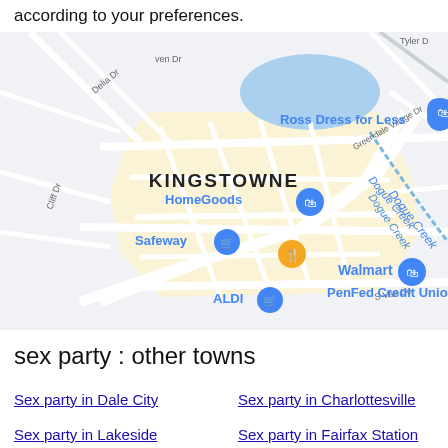according to your preferences.
[Figure (map): Google Maps view of Kingstowne area showing store locations including Ross Dress for Less, HomeGoods, Safeway, Walmart, ALDI, PenFed Credit Union, Kohl's, and a gas station. Streets visible include Delia Dr, Cliff Dr, King Centre Dr, Greendale Village Dr, Dogue Creek, S Van Do. A lake/pond is visible in the upper center.]
sex party : other towns
Sex party in Dale City
Sex party in Charlottesville
Sex party in Lakeside
Sex party in Fairfax Station
Sex party in Burke
Sex party in Stone Ridge